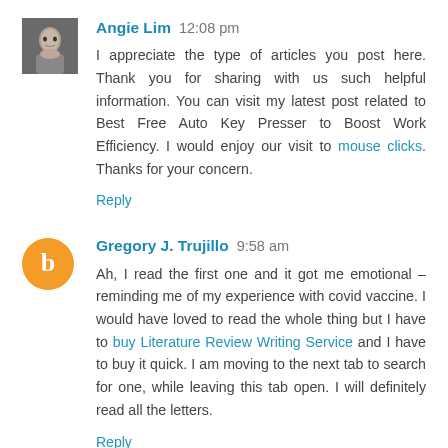Angie Lim  12:08 pm
I appreciate the type of articles you post here. Thank you for sharing with us such helpful information. You can visit my latest post related to Best Free Auto Key Presser to Boost Work Efficiency. I would enjoy our visit to mouse clicks. Thanks for your concern.
Reply
Gregory J. Trujillo  9:58 am
Ah, I read the first one and it got me emotional – reminding me of my experience with covid vaccine. I would have loved to read the whole thing but I have to buy Literature Review Writing Service and I have to buy it quick. I am moving to the next tab to search for one, while leaving this tab open. I will definitely read all the letters.
Reply